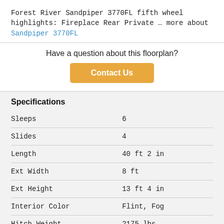Forest River Sandpiper 3770FL fifth wheel highlights: Fireplace Rear Private … more about Sandpiper 3770FL
Have a question about this floorplan?
Contact Us
Specifications
| Specification | Value |
| --- | --- |
| Sleeps | 6 |
| Slides | 4 |
| Length | 40 ft 2 in |
| Ext Width | 8 ft |
| Ext Height | 13 ft 4 in |
| Interior Color | Flint, Fog |
| Hitch Weight | 2175 lbs |
| Gross Weight | 14175 lbs |